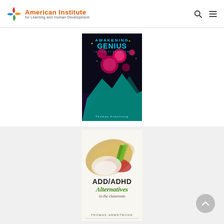American Institute for Learning and Human Development
[Figure (photo): Book cover: Awakening Genius in the Classroom by Thomas Armstrong — dark background with colorful glowing spheres and neon mountain landscape]
[Figure (photo): Book cover: ADD/ADHD Alternatives in the Classroom by Thomas Armstrong — light cover with abstract swirling shapes in gold and green and red]